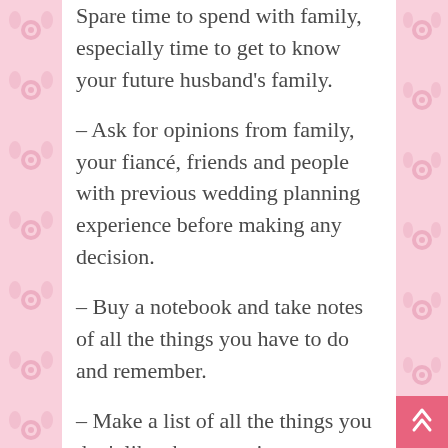Spare time to spend with family, especially time to get to know your future husband’s family.
– Ask for opinions from family, your fiancé, friends and people with previous wedding planning experience before making any decision.
– Buy a notebook and take notes of all the things you have to do and remember.
– Make a list of all the things you don’t like about previous weddings you have been to. You can gain a lot of experience from them to make your wedding better.